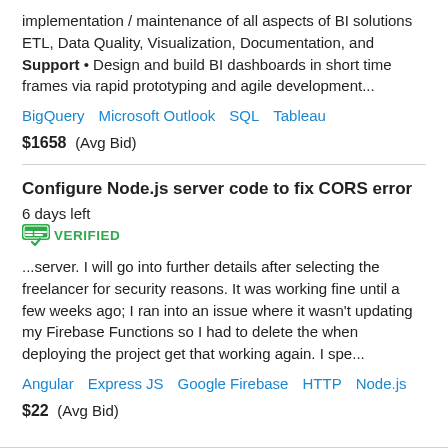implementation / maintenance of all aspects of BI solutions ETL, Data Quality, Visualization, Documentation, and Support • Design and build BI dashboards in short time frames via rapid prototyping and agile development...
BigQuery   Microsoft Outlook   SQL   Tableau
$1658  (Avg Bid)
Configure Node.js server code to fix CORS error  6 days left  VERIFIED
...server. I will go into further details after selecting the freelancer for security reasons. It was working fine until a few weeks ago; I ran into an issue where it wasn't updating my Firebase Functions so I had to delete the when deploying the project get that working again. I spe...
Angular   Express JS   Google Firebase   HTTP   Node.js
$22  (Avg Bid)